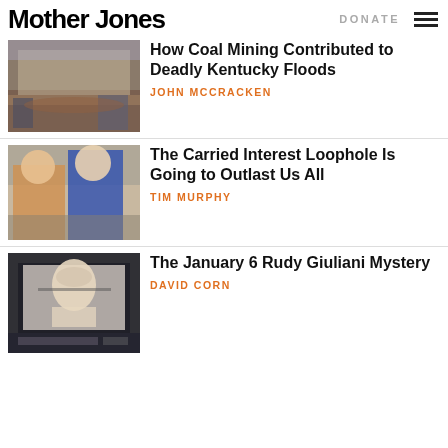Mother Jones | DONATE
[Figure (photo): Flooded grocery store interior with muddy water and people cleaning up]
How Coal Mining Contributed to Deadly Kentucky Floods
JOHN MCCRACKEN
[Figure (photo): Two people in formal attire in a hallway, woman in floral dress and man in blue suit]
The Carried Interest Loophole Is Going to Outlast Us All
TIM MURPHY
[Figure (photo): Screen projection showing an older bald man with glasses at what appears to be a congressional hearing]
The January 6 Rudy Giuliani Mystery
DAVID CORN